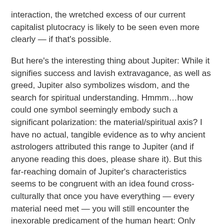interaction, the wretched excess of our current capitalist plutocracy is likely to be seen even more clearly — if that's possible.
But here's the interesting thing about Jupiter: While it signifies success and lavish extravagance, as well as greed, Jupiter also symbolizes wisdom, and the search for spiritual understanding. Hmmm…how could one symbol seemingly embody such a significant polarization: the material/spiritual axis? I have no actual, tangible evidence as to why ancient astrologers attributed this range to Jupiter (and if anyone reading this does, please share it). But this far-reaching domain of Jupiter's characteristics seems to be congruent with an idea found cross-culturally that once you have everything — every material need met — you will still encounter the inexorable predicament of the human heart: Only love has ultimate value. And in that moment of realization where love is, actually, the answer, Jupiter sheds its cloak of avarice and craving and becomes the symbol of universal generosity, personifying our interconnected interdependence.